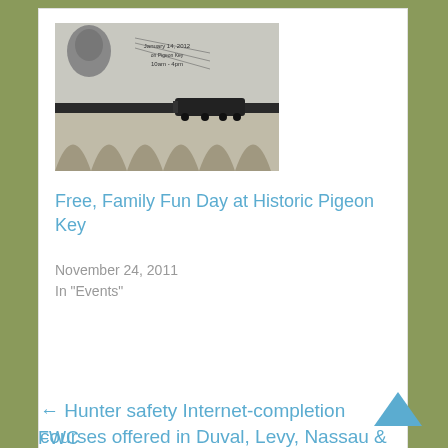[Figure (photo): Event flyer image for Free Family Fun Day at Historic Pigeon Key, showing a historic bridge scene and a man's portrait with event details including January 14, 2012 on Pigeon Key, 10am-4pm]
Free, Family Fun Day at Historic Pigeon Key
November 24, 2011
In "Events"
← Hunter safety Internet-completion courses offered in Duval, Levy, Nassau & Taylor counties
FWC logo at bottom